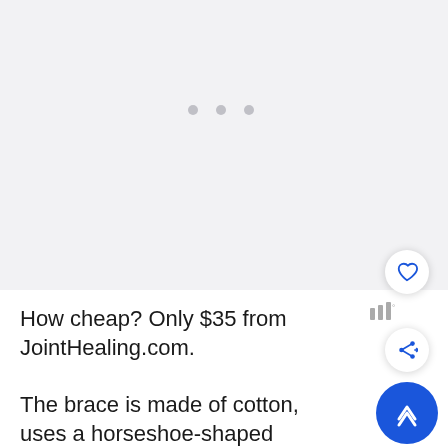[Figure (photo): Light gray image placeholder area with three small gray dots indicating a loading carousel or image slider]
How cheap? Only $35 from JointHealing.com.
The brace is made of cotton, uses a horseshoe-shaped foam pad for anterior knee compression, and offers medal